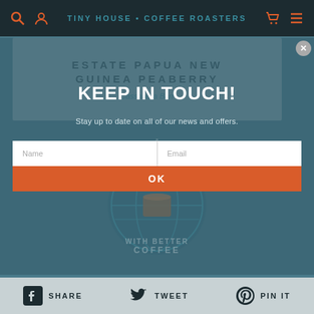TINY HOUSE • COFFEE ROASTERS
ESTATE PAPUA NEW GUINEA PEABERRY
Cassandra Barr
KEEP IN TOUCH!
Stay up to date on all of our news and offers.
[Figure (illustration): Circular logo/illustration of a globe with coffee cup and rays, text 'A BETTER WORLD WITH BETTER COFFEE']
SHARE   TWEET   PIN IT